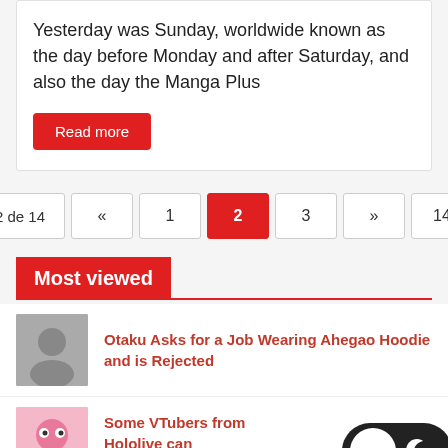Yesterday was Sunday, worldwide known as the day before Monday and after Saturday, and also the day the Manga Plus
Read more
2 de 14 « 1 2 3 » 14
Most viewed
Otaku Asks for a Job Wearing Ahegao Hoodie and is Rejected
Some VTubers from Hololive can Now